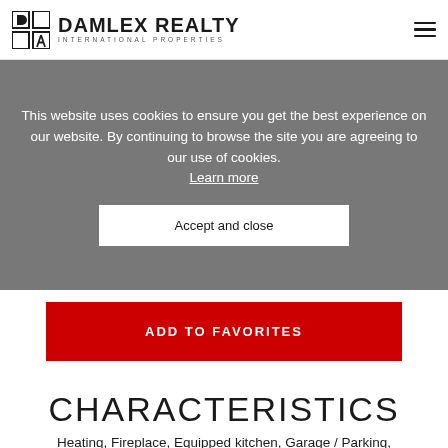DAMLEX REALTY INTERNATIONAL PROPERTIES
This website uses cookies to ensure you get the best experience on our website. By continuing to browse the site you are agreeing to our use of cookies. Learn more
Accept and close
ADD TO FAVORITES
CHARACTERISTICS
Heating, Fireplace, Equipped kitchen, Garage / Parking,